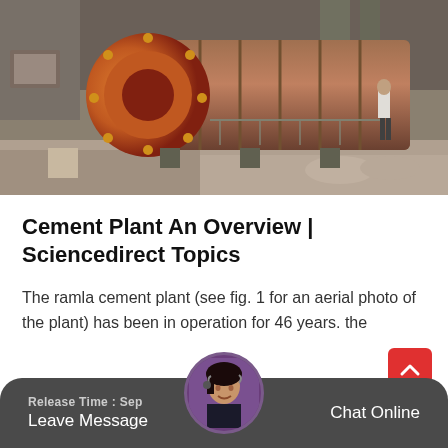[Figure (photo): Industrial cement plant interior showing a large orange ball mill or rotary drum with heavy machinery, dusty concrete floor and columns, a worker in the background wearing a white shirt]
Cement Plant An Overview | Sciencedirect Topics
The ramla cement plant (see fig. 1 for an aerial photo of the plant) has been in operation for 46 years. the
Release Time : Sep   Leave Message   Chat Online